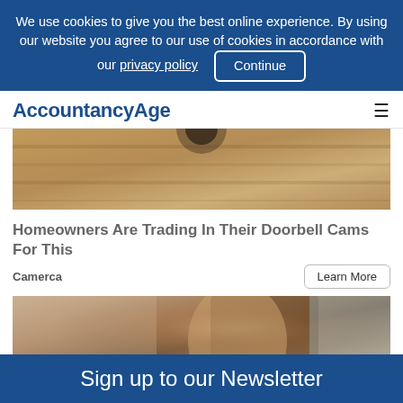We use cookies to give you the best online experience. By using our website you agree to our use of cookies in accordance with our privacy policy  Continue
AccountancyAge
[Figure (photo): Close-up photo of a doorbell camera on a stone or bread-textured surface]
Homeowners Are Trading In Their Doorbell Cams For This
Camerca   Learn More
[Figure (photo): Photo of a woman with brown hair looking upward, blurred background]
Sign up to our Newsletter